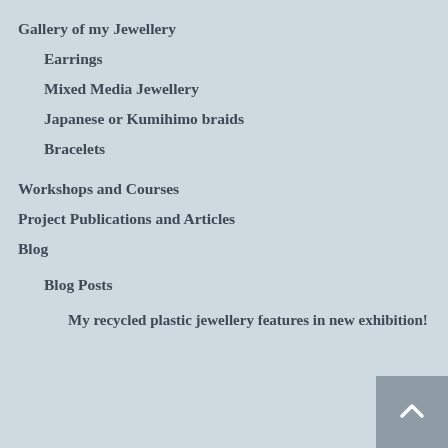Gallery of my Jewellery
Earrings
Mixed Media Jewellery
Japanese or Kumihimo braids
Bracelets
Workshops and Courses
Project Publications and Articles
Blog
Blog Posts
My recycled plastic jewellery features in new exhibition!